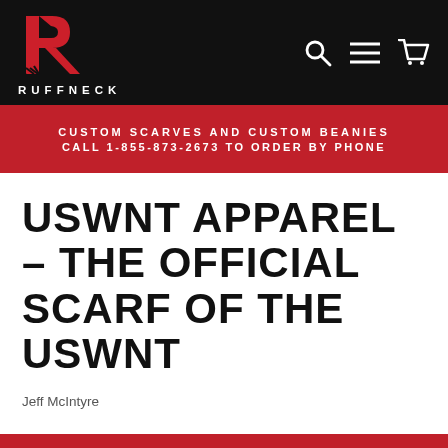[Figure (logo): Ruffneck logo: red R icon with white text RUFFNECK below, on black navigation bar with search, menu, and cart icons]
CUSTOM SCARVES AND CUSTOM BEANIES CALL 1-855-873-2673 TO ORDER BY PHONE
USWNT APPAREL – THE OFFICIAL SCARF OF THE USWNT
Jeff McIntyre